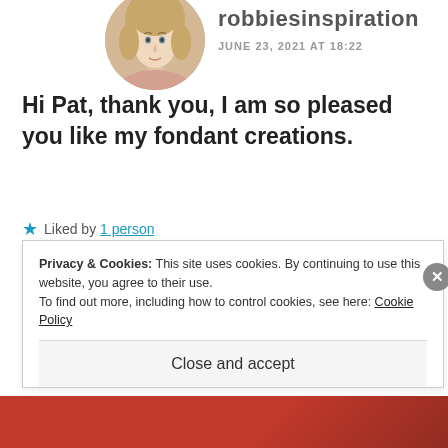[Figure (photo): Circular avatar photo of a woman with blonde hair]
robbiesinspiration
JUNE 23, 2021 AT 18:22
Hi Pat, thank you, I am so pleased you like my fondant creations.
Liked by 1 person
REPLY
Privacy & Cookies: This site uses cookies. By continuing to use this website, you agree to their use. To find out more, including how to control cookies, see here: Cookie Policy
Close and accept